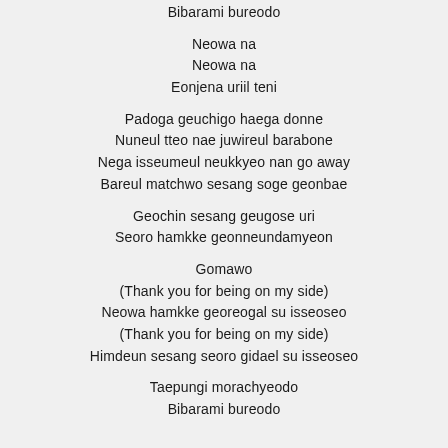Bibarami bureodo
Neowa na
Neowa na
Eonjena uriil teni
Padoga geuchigo haega donne
Nuneul tteo nae juwireul barabone
Nega isseumeul neukkyeo nan go away
Bareul matchwo sesang soge geonbae
Geochin sesang geugose uri
Seoro hamkke geonneundamyeon
Gomawo
(Thank you for being on my side)
Neowa hamkke georeogal su isseoseo
(Thank you for being on my side)
Himdeun sesang seoro gidael su isseoseo
Taepungi morachyeodo
Bibarami bureodo